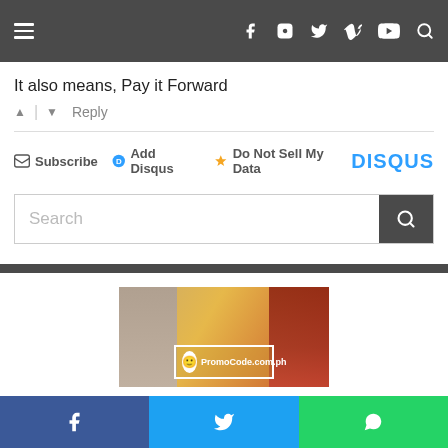Navigation bar with hamburger menu and social icons (Facebook, Instagram, Twitter, Vimeo, YouTube, Search)
It also means, Pay it Forward
↑ | ↓  Reply
✉ Subscribe  🔵 Add Disqus  ⚠ Do Not Sell My Data   DISQUS
[Figure (screenshot): Search bar with text placeholder 'Search' and dark search button]
[Figure (photo): PromoCode.com.ph advertisement image showing a person and promotional banner]
Social share buttons: Facebook, Twitter, WhatsApp